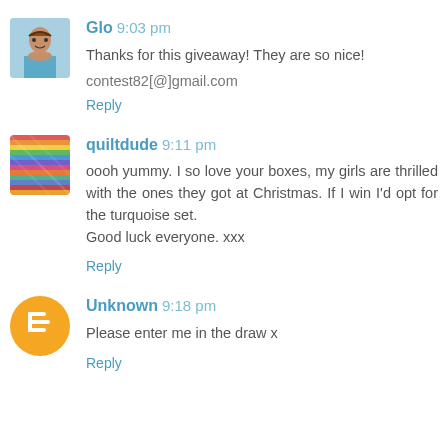Glo 9:03 pm
Thanks for this giveaway! They are so nice!
contest82[@]gmail.com
Reply
quiltdude 9:11 pm
oooh yummy. I so love your boxes, my girls are thrilled with the ones they got at Christmas. If I win I'd opt for the turquoise set.
Good luck everyone. xxx
Reply
Unknown 9:18 pm
Please enter me in the draw x
Reply